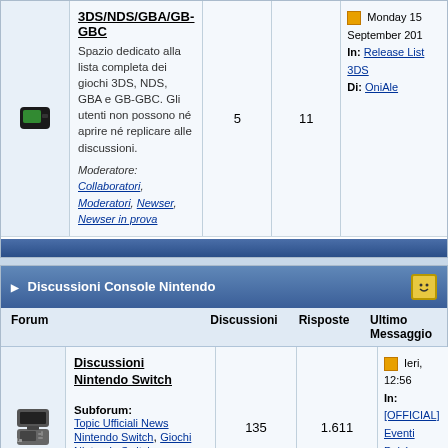| Forum | Discussioni | Risposte | Ultimo Messaggio |
| --- | --- | --- | --- |
| 3DS/NDS/GBA/GB-GBC - Spazio dedicato alla lista completa dei giochi 3DS, NDS, GBA e GB-GBC. Gli utenti non possono né aprire né replicare alle discussioni. Moderatore: Collaboratori, Moderatori, Newser, Newser in prova | 5 | 11 | Monday 15 September 201… In: Release List 3DS Di: OniAle |
Discussioni Console Nintendo
| Forum | Discussioni | Risposte | Ultimo Messaggio |
| --- | --- | --- | --- |
| Discussioni Nintendo Switch — Subforum: Topic Ufficiali News Nintendo Switch, Giochi Nintendo Switch, Hardware, Periferiche e Utilità Nintendo Switch, Hacking e Homebrew | 135 | 1.611 | Ieri, 12:56 In: [OFFICIAL] Eventi Pokémo… Di: Butterhands |